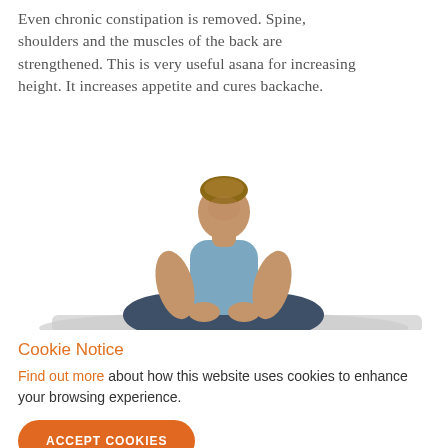Even chronic constipation is removed. Spine, shoulders and the muscles of the back are strengthened. This is very useful asana for increasing height. It increases appetite and cures backache.
[Figure (illustration): Illustration of a person sitting in a cross-legged yoga/meditation pose on a grey mat, wearing blue-grey pants and a blue-grey top, with a tan skin tone. The figure is shown from the front in a seated lotus-like position.]
Cookie Notice
Find out more about how this website uses cookies to enhance your browsing experience.